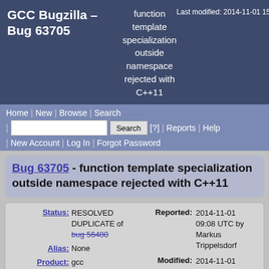GCC Bugzilla – Bug 63705  function template specialization outside namespace rejected with C++11  Last modified: 2014-11-01 15:
Home | New | Browse | Search | Search [?] | Reports | Help | New Account | Log In | Forgot Password
Bug 63705 - function template specialization outside namespace rejected with C++11
| Field | Value |
| --- | --- |
| Status: | RESOLVED DUPLICATE of bug 56480 |
| Alias: | None |
| Product: | gcc |
| Component: | c++ (show other bugs) |
| Version: | 5.0 |
| Reported: | 2014-11-01 09:08 UTC by Markus Trippelsdorf |
| Modified: | 2014-11-01 15:51 UTC (History) |
| CC List: | 0 users |